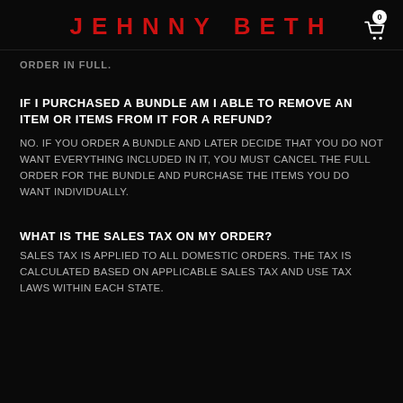JEHNNY BETH
ORDER IN FULL.
IF I PURCHASED A BUNDLE AM I ABLE TO REMOVE AN ITEM OR ITEMS FROM IT FOR A REFUND?
NO. IF YOU ORDER A BUNDLE AND LATER DECIDE THAT YOU DO NOT WANT EVERYTHING INCLUDED IN IT, YOU MUST CANCEL THE FULL ORDER FOR THE BUNDLE AND PURCHASE THE ITEMS YOU DO WANT INDIVIDUALLY.
WHAT IS THE SALES TAX ON MY ORDER?
SALES TAX IS APPLIED TO ALL DOMESTIC ORDERS. THE TAX IS CALCULATED BASED ON APPLICABLE SALES TAX AND USE TAX LAWS WITHIN EACH STATE.